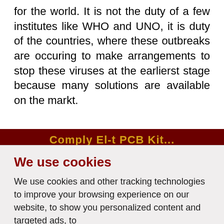for the world. It is not the duty of a few institutes like WHO and UNO, it is duty of the countries, where these outbreaks are occuring to make arrangements to stop these viruses at the earlierst stage because many solutions are available on the markt.
[Figure (screenshot): Dark red banner with gold/yellow text partially visible, appearing to be a website header]
We use cookies
We use cookies and other tracking technologies to improve your browsing experience on our website, to show you personalized content and targeted ads, to